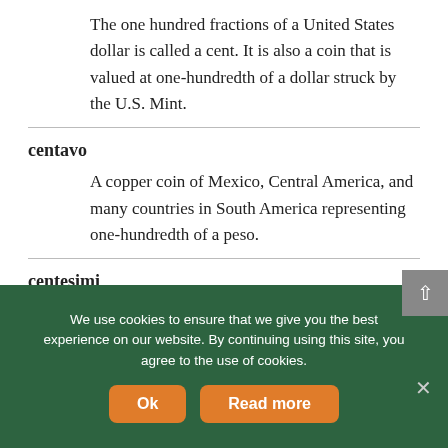The one hundred fractions of a United States dollar is called a cent. It is also a coin that is valued at one-hundredth of a dollar struck by the U.S. Mint.
centavo
A copper coin of Mexico, Central America, and many countries in South America representing one-hundredth of a peso.
centesimi
Plural of centesimo.
We use cookies to ensure that we give you the best experience on our website. By continuing using this site, you agree to the use of cookies.